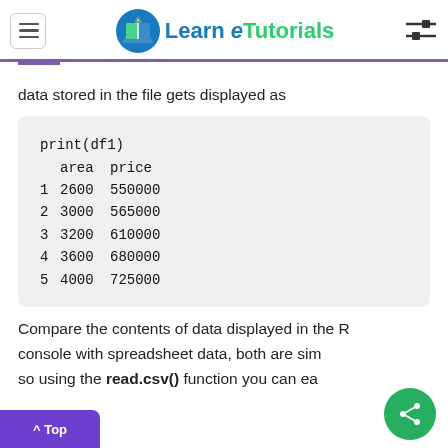Learn eTutorials
data stored in the file gets displayed as
|  | area | price |
| --- | --- | --- |
| 1 | 2600 | 550000 |
| 2 | 3000 | 565000 |
| 3 | 3200 | 610000 |
| 4 | 3600 | 680000 |
| 5 | 4000 | 725000 |
Compare the contents of data displayed in the R console with spreadsheet data, both are sim so using the read.csv() function you can ea